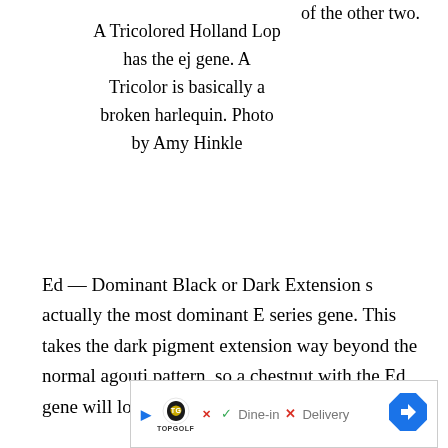of the other two.
A Tricolored Holland Lop has the ej gene. A Tricolor is basically a broken harlequin. Photo by Amy Hinkle
Ed — Dominant Black or Dark Extension s actually the most dominant E series gene. This takes the dark pigment extension way beyond the normal agouti pattern, so a chestnut with the Ed gene will look
[Figure (other): Advertisement banner for Topgolf showing Dine-in with checkmark and Delivery with X mark, and a blue diamond navigation arrow icon]